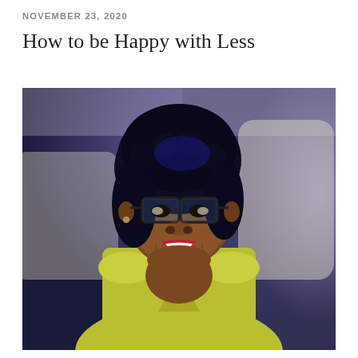NOVEMBER 23, 2020
How to be Happy with Less
[Figure (photo): A smiling woman wearing glasses, a yellow-green sleeveless top, and a gold necklace, photographed in an airplane cabin with blue-purple ambient lighting in the background.]